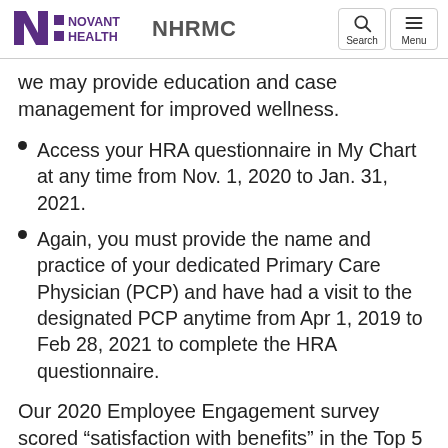Novant Health NHRMC
we may provide education and case management for improved wellness.
Access your HRA questionnaire in My Chart at any time from Nov. 1, 2020 to Jan. 31, 2021.
Again, you must provide the name and practice of your dedicated Primary Care Physician (PCP) and have had a visit to the designated PCP anytime from Apr 1, 2019 to Feb 28, 2021 to complete the HRA questionnaire.
Our 2020 Employee Engagement survey scored “satisfaction with benefits” in the Top 5